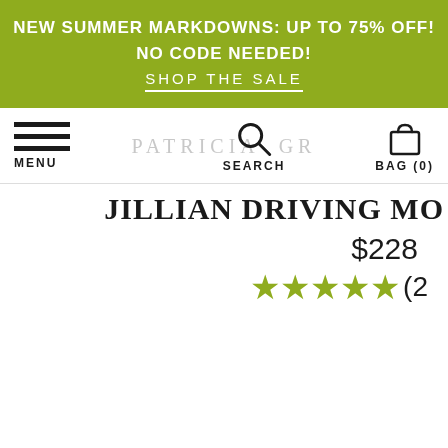NEW SUMMER MARKDOWNS: UP TO 75% OFF! NO CODE NEEDED! SHOP THE SALE
[Figure (screenshot): Navigation bar with hamburger menu icon labeled MENU, brand watermark PATRICIA GREEN in gray, search icon labeled SEARCH, and shopping bag icon labeled BAG (0)]
JILLIAN DRIVING MO
$228
★★★★★ (2